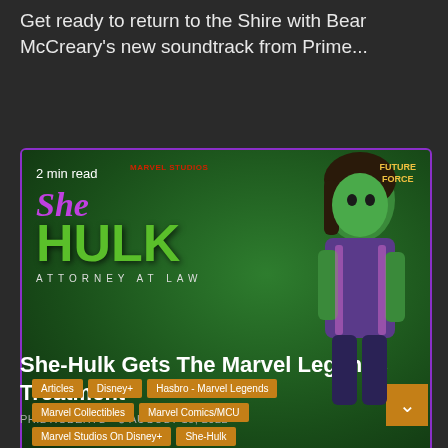Get ready to return to the Shire with Bear McCreary's new soundtrack from Prime...
READ MORE
[Figure (photo): She-Hulk: Attorney At Law promotional image featuring a Marvel Legends action figure of She-Hulk in a purple outfit against a green background. Overlaid tags include: Articles, Disney+, Hasbro - Marvel Legends, Marvel Collectibles, Marvel Comics/MCU, Marvel Studios On Disney+, She-Hulk. Badge shows '2 min read' and 'FUTURE FORCE' logo in corner.]
She-Hulk Gets The Marvel Legends Treatment
PHIL ROBERTS · AUGUST 18, 2022